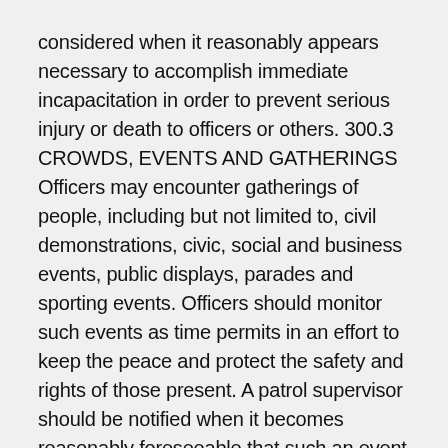considered when it reasonably appears necessary to accomplish immediate incapacitation in order to prevent serious injury or death to officers or others. 300.3 CROWDS, EVENTS AND GATHERINGS Officers may encounter gatherings of people, including but not limited to, civil demonstrations, civic, social and business events, public displays, parades and sporting events. Officers should monitor such events as time permits in an effort to keep the peace and protect the safety and rights of those present. A patrol supervisor should be notified when it becomes reasonably foreseeable that such an event may require inc d monitoring, contact or intervention. Officers responding to an event or gathering that warrants law enforcement involvement should carefully balance the speech and association rights